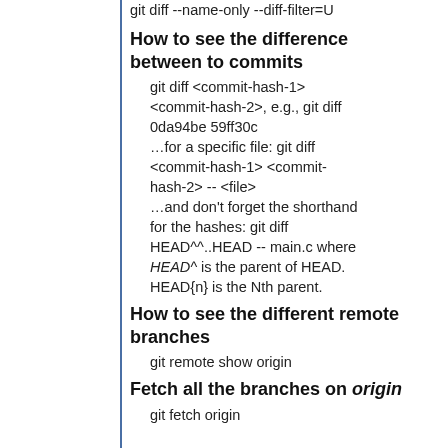git diff --name-only --diff-filter=U
How to see the difference between to commits
git diff <commit-hash-1> <commit-hash-2>, e.g., git diff 0da94be 59ff30c
…for a specific file: git diff <commit-hash-1> <commit-hash-2> -- <file>
…and don't forget the shorthand for the hashes: git diff HEAD^^..HEAD -- main.c where HEAD^ is the parent of HEAD. HEAD{n} is the Nth parent.
How to see the different remote branches
git remote show origin
Fetch all the branches on origin
git fetch origin